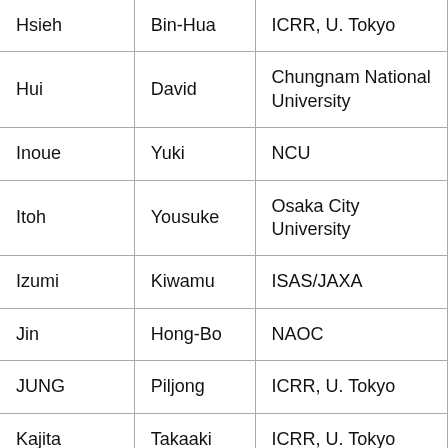| Hsieh | Bin-Hua | ICRR, U. Tokyo |
| Hui | David | Chungnam National University |
| Inoue | Yuki | NCU |
| Itoh | Yousuke | Osaka City University |
| Izumi | Kiwamu | ISAS/JAXA |
| Jin | Hong-Bo | NAOC |
| JUNG | Piljong | ICRR, U. Tokyo |
| Kajita | Takaaki | ICRR, U. Tokyo |